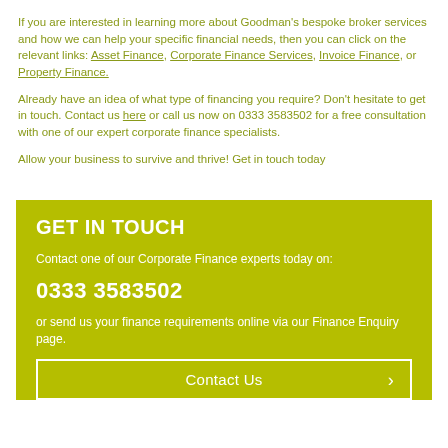If you are interested in learning more about Goodman's bespoke broker services and how we can help your specific financial needs, then you can click on the relevant links: Asset Finance, Corporate Finance Services, Invoice Finance, or Property Finance.
Already have an idea of what type of financing you require? Don't hesitate to get in touch. Contact us here or call us now on 0333 3583502 for a free consultation with one of our expert corporate finance specialists.
Allow your business to survive and thrive! Get in touch today
GET IN TOUCH
Contact one of our Corporate Finance experts today on:
0333 3583502
or send us your finance requirements online via our Finance Enquiry page.
Contact Us